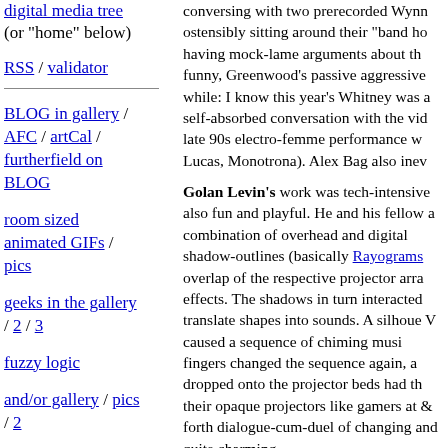digital media tree (or "home" below)
RSS / validator
BLOG in gallery / AFC / artCal / furtherfield on BLOG
room sized animated GIFs / pics
geeks in the gallery / 2 / 3
fuzzy logic
and/or gallery / pics / 2
conversing with two prerecorded Wynn ostensibly sitting around their "band ho having mock-lame arguments about th funny, Greenwood's passive aggressive while: I know this year's Whitney was a self-absorbed conversation with the vi late 90s electro-femme performance w Lucas, Monotrona). Alex Bag also inev
Golan Levin's work was tech-intensive also fun and playful. He and his fellow a combination of overhead and digital shadow-outlines (basically Rayograms overlap of the respective projector arr effects. The shadows in turn interacted translate shapes into sounds. A silhoe V caused a sequence of chiming musi fingers changed the sequence again, a dropped onto the projector beds had th their opaque projectors like gamers at & forth dialogue-cum-duel of changing and quite charming.
Framing the other two performers was demonstration of how to hack into the